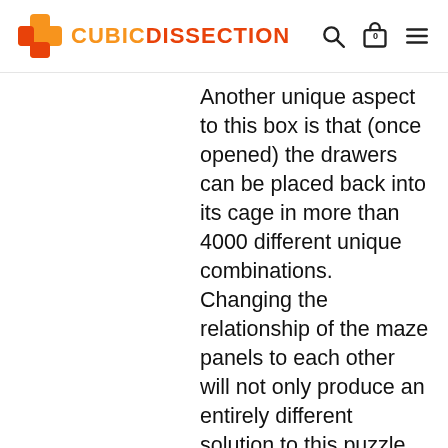CUBICDISSECTION
Another unique aspect to this box is that (once opened) the drawers can be placed back into its cage in more than 4000 different unique combinations. Changing the relationship of the maze panels to each other will not only produce an entirely different solution to this puzzle, but it significantly changes the difficulty and the overall opening strategy as well. The box is originally set with a medium level of difficulty, (which takes about 2 hours to figure out), but it can be reconfigured to take